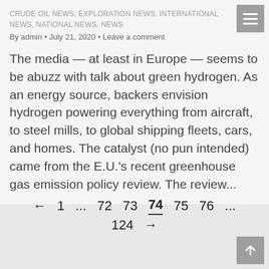CRUDE OIL NEWS, EXPLORATION NEWS, INTERNATIONAL NEWS, NATIONAL NEWS, News
By admin · July 21, 2020 · Leave a comment
The media — at least in Europe — seems to be abuzz with talk about green hydrogen. As an energy source, backers envision hydrogen powering everything from aircraft, to steel mills, to global shipping fleets, cars, and homes. The catalyst (no pun intended) came from the E.U.'s recent greenhouse gas emission policy review. The review...
← 1 ... 72 73 74 75 76 ... 124 →